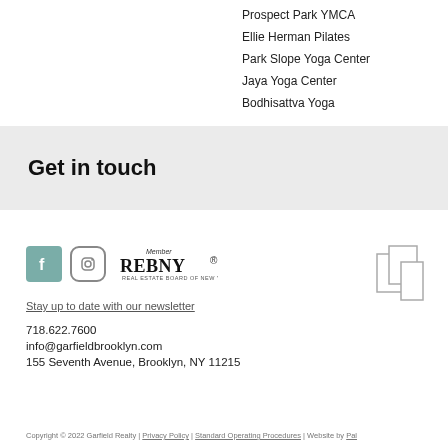Prospect Park YMCA
Ellie Herman Pilates
Park Slope Yoga Center
Jaya Yoga Center
Bodhisattva Yoga
Get in touch
[Figure (logo): Facebook icon, Instagram icon, REBNY Member logo]
[Figure (logo): Garfield Realty overlapping rectangles logo]
Stay up to date with our newsletter
718.622.7600
info@garfieldbrooklyn.com
155 Seventh Avenue, Brooklyn, NY 11215
Copyright © 2022 Garfield Realty | Privacy Policy | Standard Operating Procedures | Website by Pal